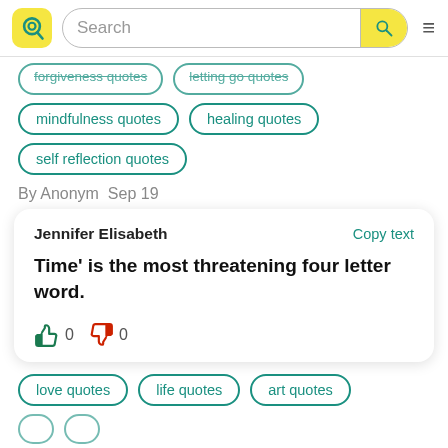[Figure (screenshot): Quotery website header with yellow logo, search bar, and hamburger menu]
forgiveness quotes
letting go quotes
mindfulness quotes
healing quotes
self reflection quotes
By Anonym  Sep 19
Jennifer Elisabeth
Copy text
Time' is the most threatening four letter word.
👍 0  👎 0
love quotes
life quotes
art quotes